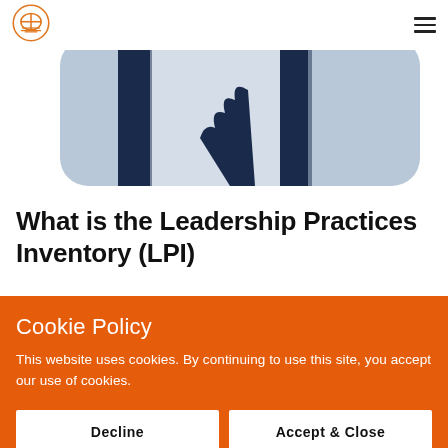[Figure (illustration): Partial hero image showing a rounded rectangle with light blue/grey background and dark navy blue geometric shapes resembling stylized figures or book spines]
What is the Leadership Practices Inventory (LPI)
Cookie Policy
This website uses cookies. By continuing to use this site, you accept our use of cookies.
Decline | Accept & Close